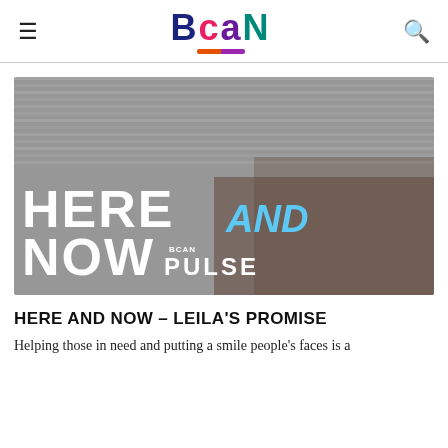BCAN
[Figure (photo): Hero image with corrugated metal background, large white bold text reading 'HERE AND NOW' with 'AND' in blue italic, and 'BCAN PULSE' logo in white at the bottom left. A person wearing glasses is partially visible on the right side.]
HERE AND NOW – LEILA'S PROMISE
Helping those in need and putting a smile people's faces is a